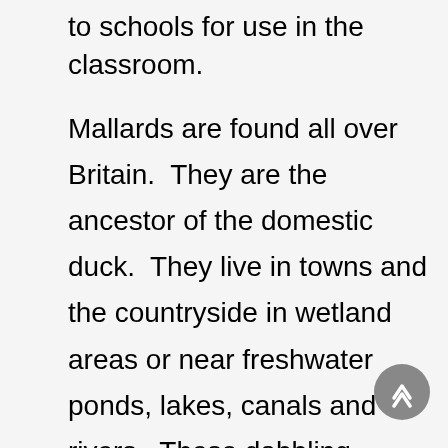to schools for use in the classroom.
Mallards are found all over Britain.  They are the ancestor of the domestic duck.  They live in towns and the countryside in wetland areas or near freshwater ponds, lakes, canals and rivers.  These dabbling ducks eat plants, insects and shellfish.  They feed in shallow water on submerged vegetation and small aquatic animals and graze on plants, seeds and berries in farmland.